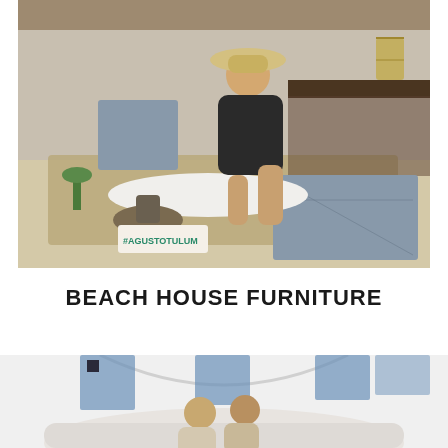[Figure (photo): A woman in a black outfit and wide-brim straw hat sits on a jute rug on a sandy beach, leaning against white bolster pillows near a dark wooden low table. Decorative patterned cushions, a lantern, a small Buddha statue in a bowl, succulents, and a sign reading #AGUSTOTULUM are arranged around her.]
BEACH HOUSE FURNITURE
[Figure (photo): A couple sits on a white curved sofa or daybed in a bright white room with blue window panels and an arched ceiling, partially visible at the bottom of the page.]